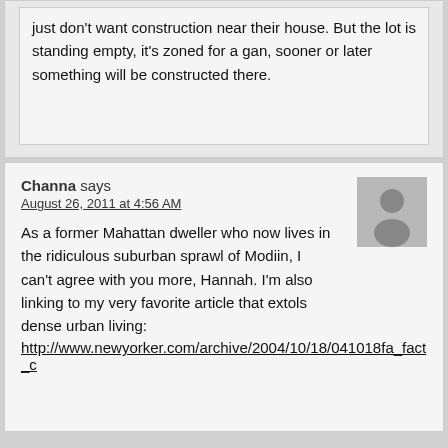just don't want construction near their house. But the lot is standing empty, it's zoned for a gan, sooner or later something will be constructed there.
Channa says
August 26, 2011 at 4:56 AM
[Figure (illustration): Generic user avatar placeholder — grey silhouette of a person on grey background]
As a former Mahattan dweller who now lives in the ridiculous suburban sprawl of Modiin, I can't agree with you more, Hannah. I'm also linking to my very favorite article that extols dense urban living:
http://www.newyorker.com/archive/2004/10/18/041018fa_fact_c